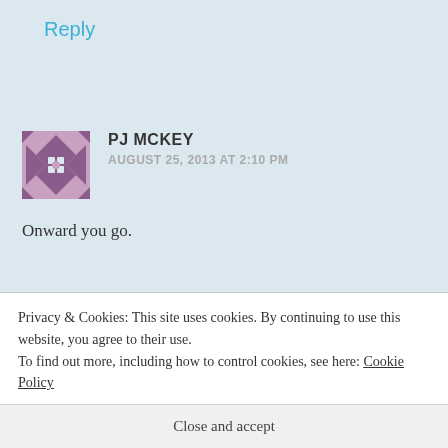Reply
PJ MCKEY
AUGUST 25, 2013 AT 2:10 PM
Onward you go.
Privacy & Cookies: This site uses cookies. By continuing to use this website, you agree to their use. To find out more, including how to control cookies, see here: Cookie Policy
Close and accept